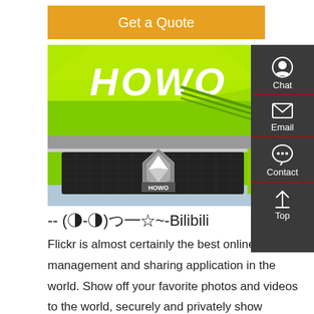Get a Quote
[Figure (photo): Close-up photo of a bright green HOWO truck front grille with HOWO logo badge in the center]
-- (◑-◑)つ━☆~-Bilibili
Flickr is almost certainly the best online photo management and sharing application in the world. Show off your favorite photos and videos to the world, securely and privately show